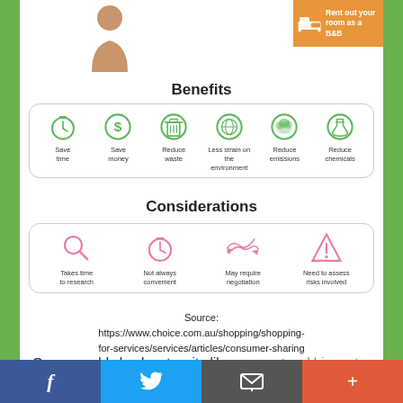[Figure (infographic): Benefits section with 6 green circular icons: Save time (clock), Save money (dollar), Reduce waste (trash bin), Less strain on the environment (globe), Reduce emissions (cloud), Reduce chemicals (flask)]
Benefits
[Figure (infographic): Considerations section with 4 pink icons: Takes time to research (magnifying glass), Not always convenient (clock), May require negotiation (hands/arrows), Need to assess risks involved (warning triangle)]
Considerations
Source: https://www.choice.com.au/shopping/shopping-for-services/services/articles/consumer-sharing
Or you could check out a site like www.networkhire.net, a not for profit business who is trying to reduce the
[Figure (infographic): Bottom social media bar with Facebook (blue), Twitter (light blue), Email/envelope (grey), and Plus/share (orange-red) icons]